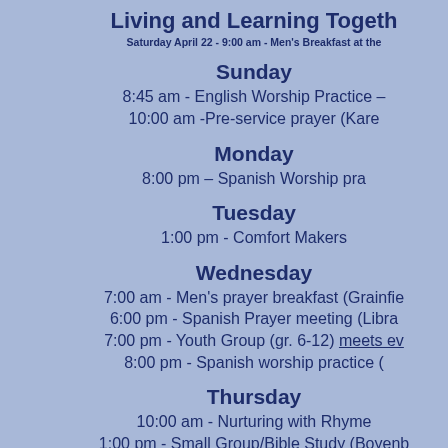Living and Learning Together
Saturday April 22 - 9:00 am - Men's Breakfast at the
Sunday
8:45 am - English Worship Practice –
10:00 am -Pre-service prayer (Kare
Monday
8:00 pm – Spanish Worship pra
Tuesday
1:00 pm - Comfort Makers
Wednesday
7:00 am - Men's prayer breakfast (Grainfie
6:00 pm - Spanish Prayer meeting (Libra
7:00 pm - Youth Group (gr. 6-12) meets ev
8:00 pm - Spanish worship practice (
Thursday
10:00 am - Nurturing with Rhyme
1:00 pm - Small Group/Bible Study (Boyenb
Thursday event continues...